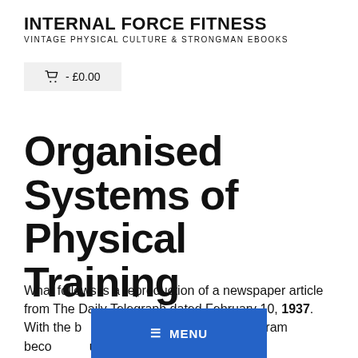INTERNAL FORCE FITNESS
VINTAGE PHYSICAL CULTURE & STRONGMAN EBOOKS
🛒 - £0.00
Organised Systems of Physical Training
What follows is a reproduction of a newspaper article from The Daily Telegraph dated February 10, 1937. With the b[...] dsight aspects of the program beco[...] out it is worth